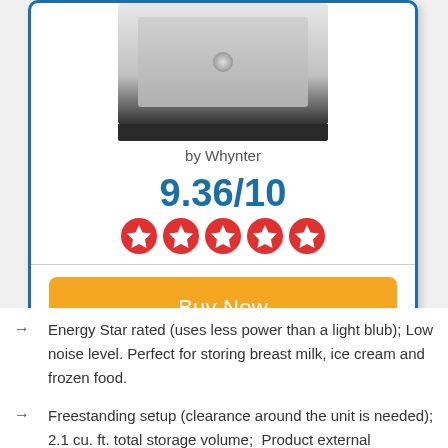[Figure (photo): Product photo of a Whynter compact freezer, silver/stainless finish with dark base]
by Whynter
9.36/10
[Figure (infographic): Five red star rating icons in a row]
Buy Now
Energy Star rated (uses less power than a light blub); Low noise level. Perfect for storing breast milk, ice cream and frozen food.
Freestanding setup (clearance around the unit is needed); 2.1 cu. ft. total storage volume;  Product external dimensions: 17.5"W x 20" D x 27.5" H;  Product internal dimensions: